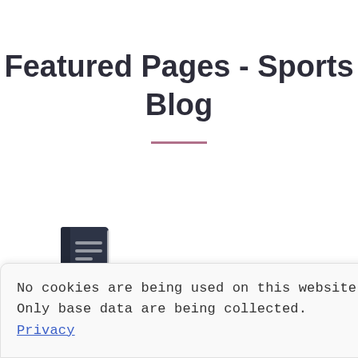Featured Pages - Sports Blog
[Figure (illustration): A dark navy book icon with horizontal lines on the cover, representing a blog or notebook.]
2011-09-08 Harvesting Opinion New York
× No cookies are being used on this website. Only base data are being collected. Privacy